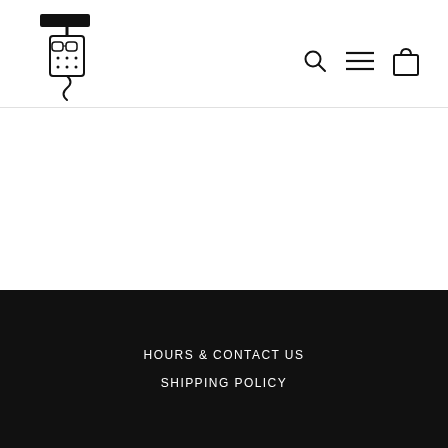[Figure (logo): Cartoon corkscrew character with glasses and a wine bottle body, serving as a store logo]
[Figure (other): Navigation icons: search magnifying glass, hamburger menu, and shopping bag]
A
CH
HOURS & CONTACT US
SHIPPING POLICY